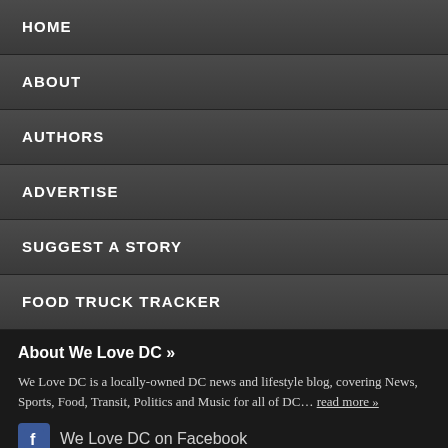HOME
ABOUT
AUTHORS
ADVERTISE
SUGGEST A STORY
FOOD TRUCK TRACKER
About We Love DC »
We Love DC is a locally-owned DC news and lifestyle blog, covering News, Sports, Food, Transit, Politics and Music for all of DC… read more »
We Love DC on Facebook